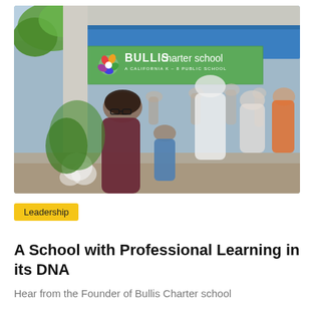[Figure (photo): Outdoor photo of people (adults and children) gathered outside a building with a 'Bullis Charter School - A California K-8 Public School' sign on a green background under a blue awning.]
Leadership
A School with Professional Learning in its DNA
Hear from the Founder of Bullis Charter school